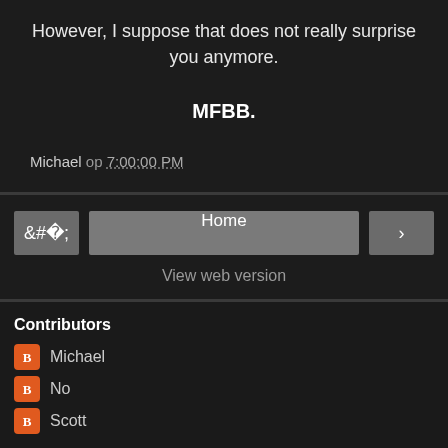However, I suppose that does not really surprise you anymore.
MFBB.
Michael op 7:00:00 PM
< Home >
View web version
Contributors
Michael
No
Scott
Powered by Blogger.